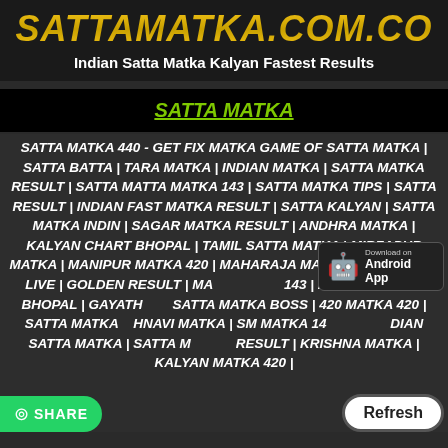SATTAMATKA.COM.CO
Indian Satta Matka Kalyan Fastest Results
SATTA MATKA
SATTA MATKA 440 - GET FIX MATKA GAME OF SATTA MATKA | SATTA BATTA | TARA MATKA | INDIAN MATKA | SATTA MATKA RESULT | SATTA MATTA MATKA 143 | SATTA MATKA TIPS | SATTA RESULT | INDIAN FAST MATKA RESULT | SATTA KALYAN | SATTA MATKA INDIN | SAGAR MATKA RESULT | ANDHRA MATKA | KALYAN CHART BHOPAL | TAMIL SATTA MATKA | MIRZAPUR MATKA | MANIPUR MATKA 420 | MAHARAJA MATKA | SATTA KING LIVE | GOLDEN RESULT | MA... 143 | KALYAN CHART BHOPAL | GAYATH... SATTA MATKA BOSS | 420 MATKA 420 | SATTA MATKA ...HNAVI MATKA | SM MATKA 14... ...DIAN SATTA MATKA | SATTA M... RESULT | KRISHNA MATKA | KALYAN MATKA 420 |
[Figure (screenshot): Android App download badge]
[Figure (screenshot): WhatsApp Share button (green, bottom left)]
[Figure (screenshot): Refresh button (white oval, bottom right)]